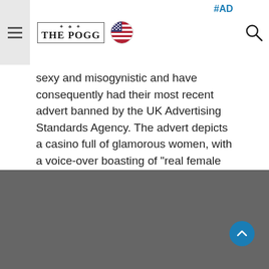#AD | THE POGG logo | US flag | Search icon
sexy and misogynistic and have consequently had their most recent advert banned by the UK Advertising Standards Agency. The advert depicts a casino full of glamorous women, with a voice-over boasting of "real female [...]
Read More...
« Previous  1  ...  36  37  38  39  40  Next »